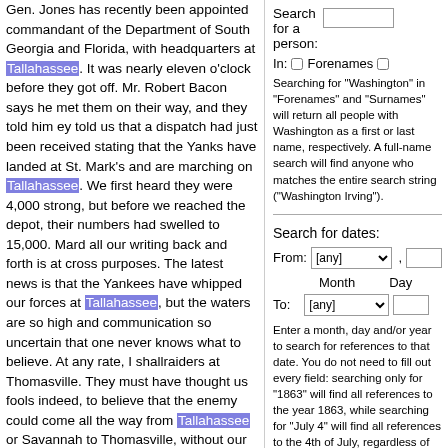Gen. Jones has recently been appointed commandant of the Department of South Georgia and Florida, with headquarters at Tallahassee. It was nearly eleven o'clock before they got off. Mr. Robert Bacon says he met them on their way, and they told him ey told us that a dispatch had just been received stating that the Yanks have landed at St. Mark's and are marching on Tallahassee. We first heard they were 4,000 strong, but before we reached the depot, their numbers had swelled to 15,000. Mard all our writing back and forth is at cross purposes. The latest news is that the Yankees have whipped our forces at Tallahassee, but the waters are so high and communication so uncertain that one never knows what to believe. At any rate, I shallraiders at Thomasville. They must have thought us fools indeed, to believe that the enemy could come all the way from Tallahassee or Savannah to Thomasville, without our hearing a word of it till they got there, but we pretended to swallow it all,
France (France) (search for this): chapter 3
he captain keeps him out of the stockade, foods and clothes him, and in return
Search for a person:
In: Forenames
Searching for "Washington" in "Forenames" and "Surnames" will return all people with Washington as a first or last name, respectively. A full-name search will find anyone who matches the entire search string ("Washington Irving").
Search for dates:
From: [any] Month Day
To: [any]
Enter a month, day and/or year to search for references to that date. You do not need to fill out every field: searching only for "1863" will find all references to the year 1863, while searching for "July 4" will find all references to the 4th of July, regardless of year.
Enter a starting date and an ending date to find all occurrences of dates in between.